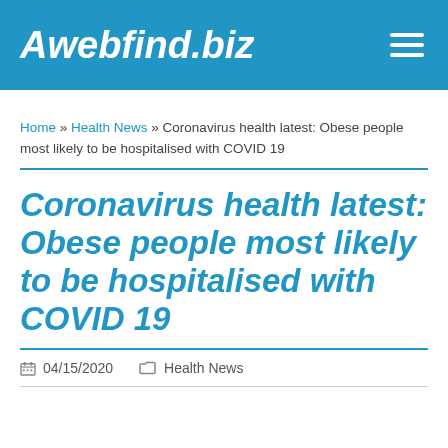Awebfind.biz
Home » Health News » Coronavirus health latest: Obese people most likely to be hospitalised with COVID 19
Coronavirus health latest: Obese people most likely to be hospitalised with COVID 19
04/15/2020   Health News